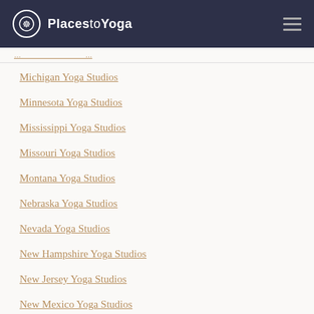PlacestoYoga
Michigan Yoga Studios
Minnesota Yoga Studios
Mississippi Yoga Studios
Missouri Yoga Studios
Montana Yoga Studios
Nebraska Yoga Studios
Nevada Yoga Studios
New Hampshire Yoga Studios
New Jersey Yoga Studios
New Mexico Yoga Studios
New York Yoga Studios